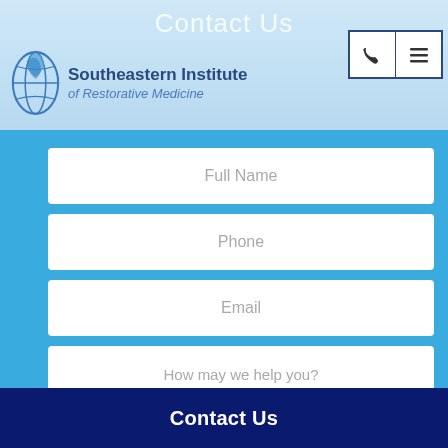Contact Us
[Figure (logo): Southeastern Institute of Restorative Medicine logo with stylized leaf/globe icon]
Full Name
Phone
Email
How may we help you?
Send
Contact Us